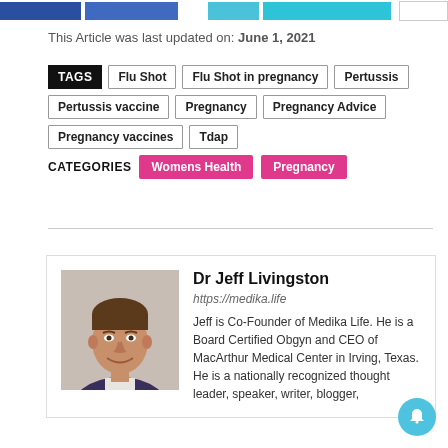This Article was last updated on: June 1, 2021
TAGS  Flu Shot  Flu Shot in pregnancy  Pertussis  Pertussis vaccine  Pregnancy  Pregnancy Advice  Pregnancy vaccines  Tdap
CATEGORIES  Womens Health  Pregnancy
[Figure (photo): Headshot portrait of Dr Jeff Livingston, a man with short brown hair smiling, wearing a suit, against a light background]
Dr Jeff Livingston
https://medika.life
Jeff is Co-Founder of Medika Life. He is a Board Certified Obgyn and CEO of MacArthur Medical Center in Irving, Texas. He is a nationally recognized thought leader, speaker, writer, blogger,